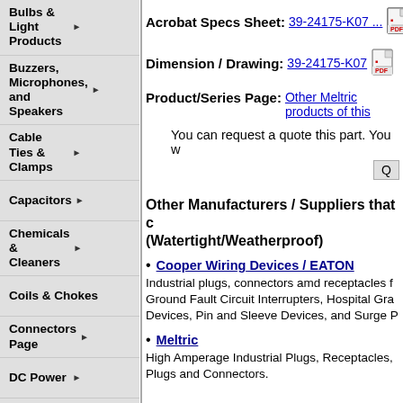Bulbs & Light Products
Buzzers, Microphones, and Speakers
Cable Ties & Clamps
Capacitors
Chemicals & Cleaners
Coils & Chokes
Connectors Page
DC Power
Electrical
Enclosures
Fans & Coolers
Fuses & Breakers
Hardware
Heat Shrink Tubing
Inductors
Acrobat Specs Sheet: 39-24175-K07 ...
Dimension / Drawing: 39-24175-K07
Product/Series Page: Other Meltric products of this
You can request a quote this part. You w
Other Manufacturers / Suppliers that c (Watertight/Weatherproof)
Cooper Wiring Devices / EATON
Industrial plugs, connectors amd receptacles f Ground Fault Circuit Interrupters, Hospital Gra Devices, Pin and Sleeve Devices, and Surge P
Meltric
High Amperage Industrial Plugs, Receptacles, Plugs and Connectors.